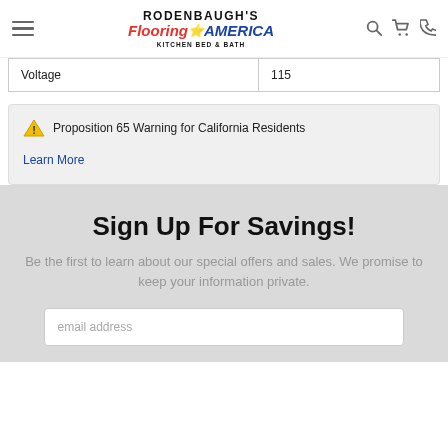RODENBAUGH'S FlooringAMERICA KITCHEN BED & BATH
| Voltage | 115 |
⚠ Proposition 65 Warning for California Residents
Learn More
Sign Up For Savings!
Be the first to learn about our special offers and sales. We promise to keep your information private.
email address